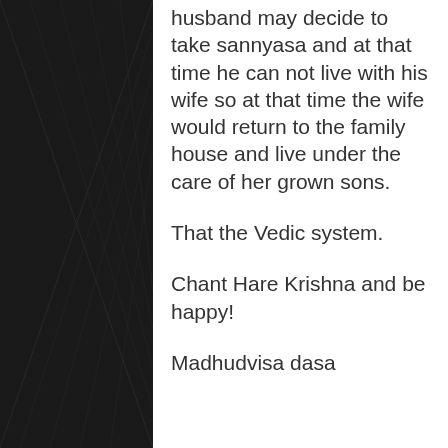husband may decide to take sannyasa and at that time he can not live with his wife so at that time the wife would return to the family house and live under the care of her grown sons.
That the Vedic system.
Chant Hare Krishna and be happy!
Madhudvisa dasa